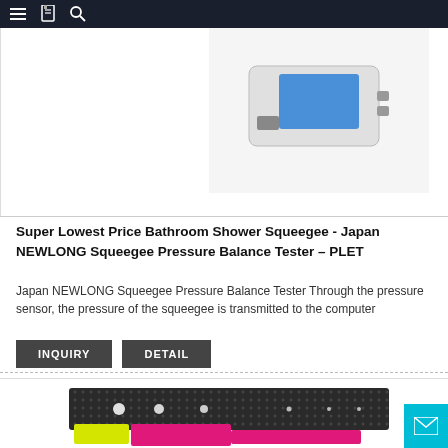Navigation bar with menu, bookmark, and search icons
[Figure (photo): Partial product image of a pressure balance tester device, showing a white/grey electronic device with a blue screen, clipped at top]
Super Lowest Price Bathroom Shower Squeegee - Japan NEWLONG Squeegee Pressure Balance Tester – PLET
Japan NEWLONG Squeegee Pressure Balance Tester Through the pressure sensor, the pressure of the squeegee is transmitted to the computer
INQUIRY   DETAIL
[Figure (photo): Product image of a squeegee pressure balance tester - a long dark rectangular bar with white dots and yellow and pink squeegee attachments at the bottom]